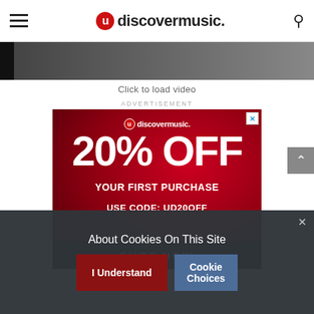udiscovermusic.
[Figure (screenshot): Dark video thumbnail strip showing a partially visible image]
Click to load video
ADVERTISEMENT
[Figure (illustration): uDiscover Music advertisement banner: 20% OFF YOUR FIRST PURCHASE USE CODE: UD20OFF SHOP NOW]
About Cookies On This Site
I Understand
Cookie Choices